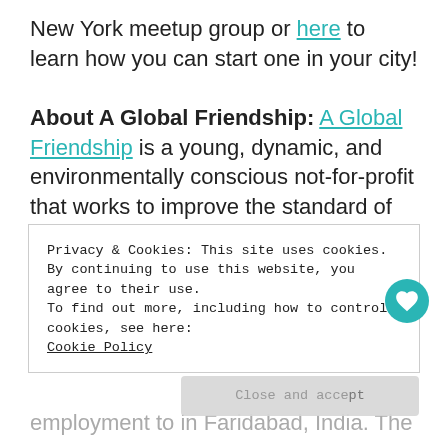New York meetup group or here to learn how you can start one in your city!
About A Global Friendship: A Global Friendship is a young, dynamic, and environmentally conscious not-for-profit that works to improve the standard of living in developing regions. Project Home is AGF's primary development project and has employed over 100 women and men in India, Thailand, Indonesia, Peru and the USA. Project Home...
Privacy & Cookies: This site uses cookies. By continuing to use this website, you agree to their use. To find out more, including how to control cookies, see here: Cookie Policy
employment to in Faridabad, India. The